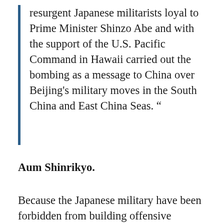resurgent Japanese militarists loyal to Prime Minister Shinzo Abe and with the support of the U.S. Pacific Command in Hawaii carried out the bombing as a message to China over Beijing's military moves in the South China and East China Seas. “
Aum Shinrikyo.
Because the Japanese military have been forbidden from building offensive capabilities by the Japanese constitution imposed after World War 2, nationalist Japanese politicians such as Shinzo Abe used cut-outs to conduct